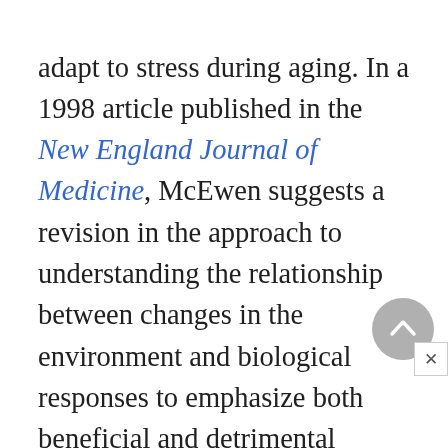adapt to stress during aging. In a 1998 article published in the New England Journal of Medicine, McEwen suggests a revision in the approach to understanding the relationship between changes in the environment and biological responses to emphasize both beneficial and detrimental effects of stress mediators and, in particular, the costs of adaptation to stress. Short-term beneficial effects result in allostasis, which means the capacity to adapt or